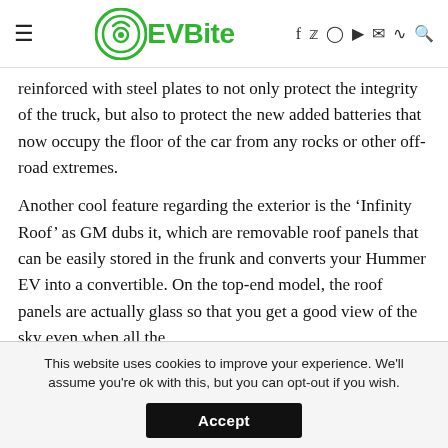EVBite
reinforced with steel plates to not only protect the integrity of the truck, but also to protect the new added batteries that now occupy the floor of the car from any rocks or other off-road extremes.
Another cool feature regarding the exterior is the ‘Infinity Roof’ as GM dubs it, which are removable roof panels that can be easily stored in the frunk and converts your Hummer EV into a convertible. On the top-end model, the roof panels are actually glass so that you get a good view of the sky even when all the
This website uses cookies to improve your experience. We'll assume you're ok with this, but you can opt-out if you wish.
Accept